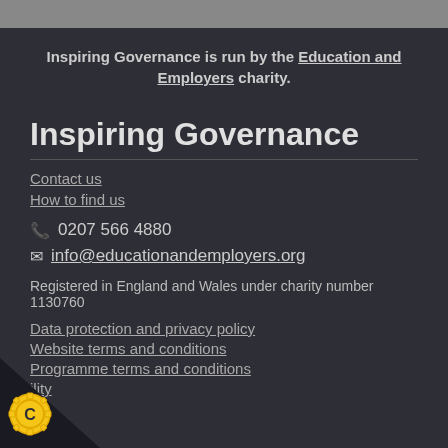Inspiring Governance is run by the Education and Employers charity.
Inspiring Governance
Contact us
How to find us
0207 566 4880
info@educationandemployers.org
Registered in England and Wales under charity number 1130760
Data protection and privacy policy
Website terms and conditions
Programme terms and conditions
ility